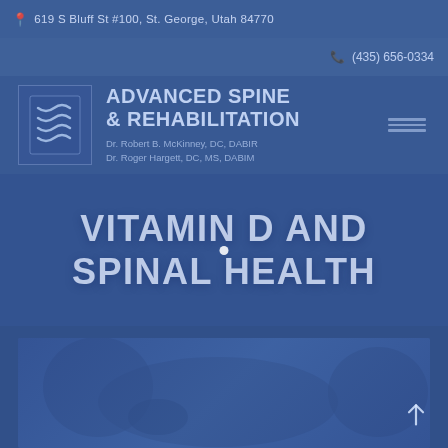619 S Bluff St #100, St. George, Utah 84770
(435) 656-0334
[Figure (logo): Advanced Spine & Rehabilitation logo with spine graphic icon, clinic name, and doctor names Dr. Robert B. McKinney, DC, DABIR and Dr. Roger Hargett, DC, MS, DABIM]
VITAMIN D AND SPINAL HEALTH
[Figure (photo): Photo of a patient receiving spinal treatment or rehabilitation, partially visible in the lower portion of the page with blue overlay]